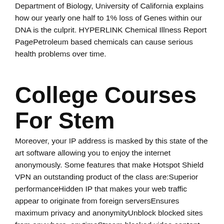Department of Biology, University of California explains how our yearly one half to 1% loss of Genes within our DNA is the culprit. HYPERLINK Chemical Illness Report PagePetroleum based chemicals can cause serious health problems over time.
College Courses For Stem
Moreover, your IP address is masked by this state of the art software allowing you to enjoy the internet anonymously. Some features that make Hotspot Shield VPN an outstanding product of the class are:Superior performanceHidden IP that makes your web traffic appear to originate from foreign serversEnsures maximum privacy and anonymityUnblock blocked sites from anywhere, anytimeStream blocked video content smoothlyProtection against all types of malware, Phishing and spam websites, and identity theftCompatible with PC, Mac, iOS and AndroidUser friendly and easy installationFree version available and affordable premium versionOriginal Source: on page, governing bodies have